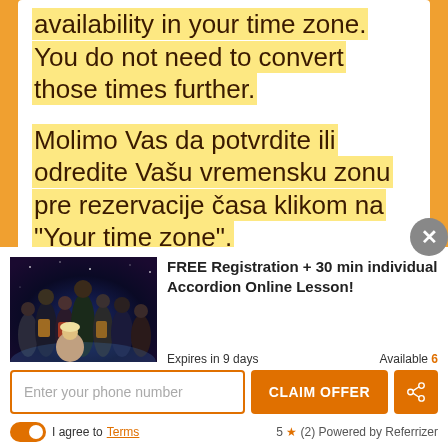availability in your time zone. You do not need to convert those times further.
Molimo Vas da potvrdite ili odredite Vašu vremensku zonu pre rezervacije časa klikom na "Your time zone".
[Figure (photo): Group photo of accordion musicians on a dark cosmic/space background]
FREE Registration + 30 min individual Accordion Online Lesson!
Expires in 9 days
Available 6
Enter your phone number
CLAIM OFFER
I agree to Terms
5 ★ (2) Powered by Referrizer